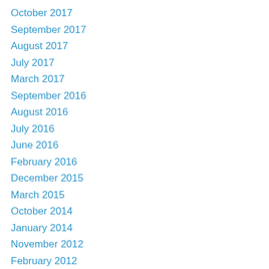October 2017
September 2017
August 2017
July 2017
March 2017
September 2016
August 2016
July 2016
June 2016
February 2016
December 2015
March 2015
October 2014
January 2014
November 2012
February 2012
December 2011
November 2011
October 2011
September 2011